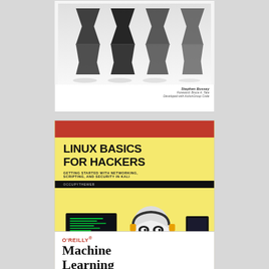[Figure (illustration): Book cover: hourglass-themed book with multiple hourglasses on a white/gray background. Author: Stephen Bussey. Foreword: Bruce A. Tate. Developed with ActionGroup Code.]
[Figure (illustration): Book cover: Linux Basics for Hackers. Yellow and black cover with a Linux penguin (Tux) in a hacker hoodie at a computer. Red bar at top. Subtitle: Getting Started with Networking, Scripting, and Security in Kali. Author: OccupyTheWeb. No Starch Press.]
[Figure (illustration): Book cover: O'Reilly Machine Learning (partially visible at bottom). White cover with O'Reilly branding in red.]